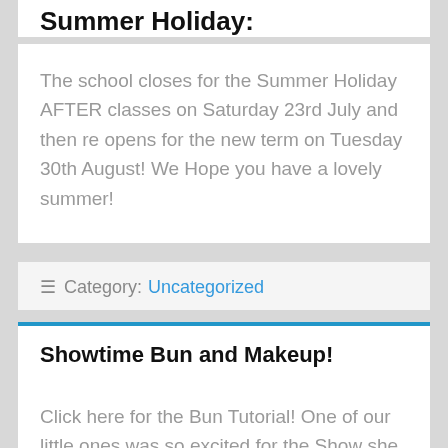Summer Holiday:
The school closes for the Summer Holiday AFTER classes on Saturday 23rd July and then re opens for the new term on Tuesday 30th August! We Hope you have a lovely summer!
☰ Category: Uncategorized
Showtime Bun and Makeup!
Click here for the Bun Tutorial! One of our little ones was so excited for the Show she wanted to try on the